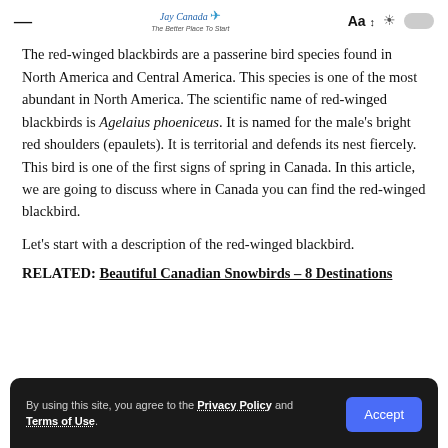≡  Jay Canada · The Better Place To Start  Aa ↕ ☀ [toggle]
The red-winged blackbirds are a passerine bird species found in North America and Central America. This species is one of the most abundant in North America. The scientific name of red-winged blackbirds is Agelaius phoeniceus. It is named for the male's bright red shoulders (epaulets). It is territorial and defends its nest fiercely. This bird is one of the first signs of spring in Canada. In this article, we are going to discuss where in Canada you can find the red-winged blackbird.
Let's start with a description of the red-winged blackbird.
RELATED: Beautiful Canadian Snowbirds – 8 Destinations
By using this site, you agree to the Privacy Policy and Terms of Use.